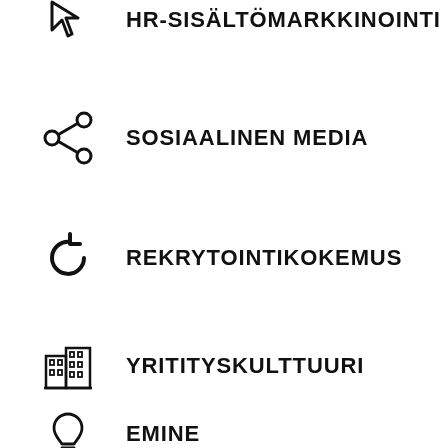HR-SISÄLTÖMARKKINOINTI
SOSIAALINEN MEDIA
REKRYTOINTIKOKEMUS
YRITITYSKULTTUURI
EMINE